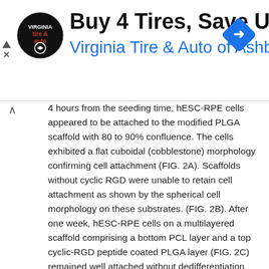[Figure (screenshot): Advertisement banner: logo for Virginia Tire & Auto, text 'Buy 4 Tires, Save Up To $110', subtitle 'Virginia Tire & Auto of Ashburn …', blue navigation arrow diamond icon on right, small ad controls (triangle and X) on left]
4 hours from the seeding time, hESC-RPE cells appeared to be attached to the modified PLGA scaffold with 80 to 90% confluence. The cells exhibited a flat cuboidal (cobblestone) morphology confirming cell attachment (FIG. 2A). Scaffolds without cyclic RGD were unable to retain cell attachment as shown by the spherical cell morphology on these substrates. (FIG. 2B). After one week, hESC-RPE cells on a multilayered scaffold comprising a bottom PCL layer and a top cyclic-RGD peptide coated PLGA layer (FIG. 2C) remained well attached without dedifferentiation into fibroblast like cells.
After 4 days from seeding time, the optical microscope images showed abundant cell attachment and formation of an almost confluent monolayer of cells with characteristic cobblestone morphology (FIG. 4A). At day 30, the majority of hESC-RPE cells remained attached, however, the formation of a few small patches, where cells detached, were noted (FIG. 4B). At day 104 after seeding, the cells showed formation of almost (~90-95%) confluent monolayer of well-pigmented cells with characteristic cobblestone morphology (FIG. 4C).